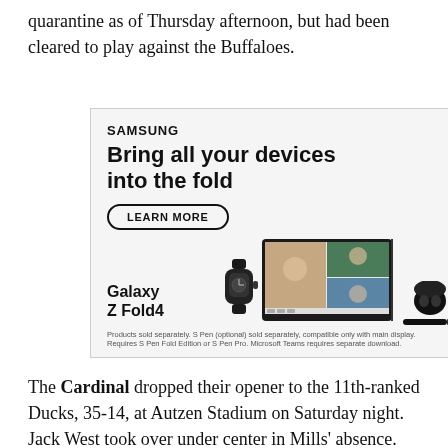quarantine as of Thursday afternoon, but had been cleared to play against the Buffaloes.
[Figure (other): Samsung advertisement for Galaxy Z Fold4. Features Samsung logo, headline 'Bring all your devices into the fold', a 'LEARN MORE' button, product images of the Galaxy Z Fold4 with a watch, folded tablet showing video call, and earbuds with stylus. Fine print: 'Products sold separately. S Pen (optional) sold separately, compatible only with main display. Requires S Pen Fold Edition or S Pen Pro. Microsoft Teams requires separate download.']
The Cardinal dropped their opener to the 11th-ranked Ducks, 35-14, at Autzen Stadium on Saturday night. Jack West took over under center in Mills' absence. The backup went 13-of-19 for 154 yards and no